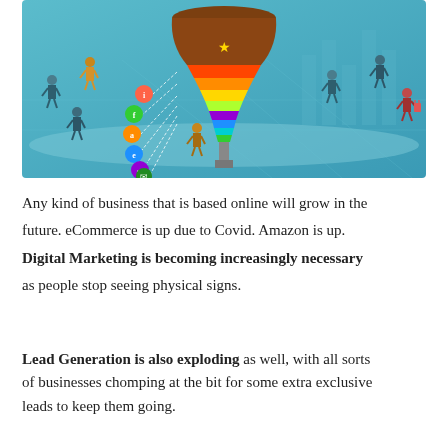[Figure (illustration): Colorful marketing funnel infographic with illustrated people walking around it on a teal/blue isometric platform. The funnel has rainbow-colored layers (brown top, orange, yellow, green, purple, blue, cyan, green bottom) with circular icons on the left side.]
Any kind of business that is based online will grow in the future. eCommerce is up due to Covid. Amazon is up. Digital Marketing is becoming increasingly necessary as people stop seeing physical signs.
Lead Generation is also exploding as well, with all sorts of businesses chomping at the bit for some extra exclusive leads to keep them going.